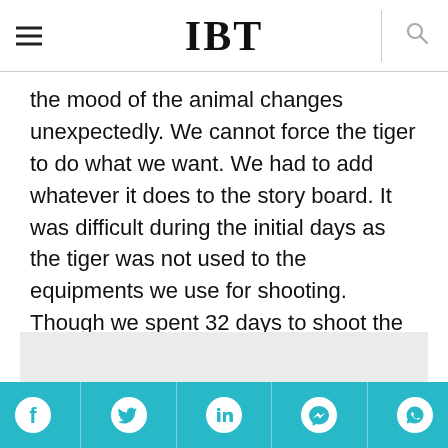IBT
the mood of the animal changes unexpectedly. We cannot force the tiger to do what we want. We had to add whatever it does to the story board. It was difficult during the initial days as the tiger was not used to the equipments we use for shooting. Though we spent 32 days to shoot the sequences with the animal, the reactions of the tiger shown in the movie were shot only for three minutes," the director adds.
[Figure (other): Social share bar with Facebook, Twitter, LinkedIn, Messenger, and WhatsApp icons on a cyan/teal background]